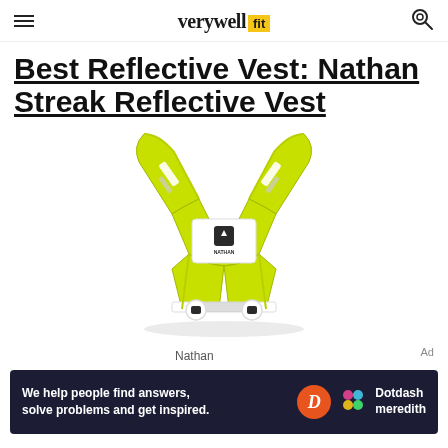verywell fit
Best Reflective Vest: Nathan Streak Reflective Vest
[Figure (photo): Yellow-green Nathan Streak Reflective Vest displayed flat, showing X-shaped design with reflective strips on shoulder straps and waist band, white Nathan logo panel in center, and two circular clips at the bottom waist.]
Nathan
We help people find answers, solve problems and get inspired.  Dotdash meredith